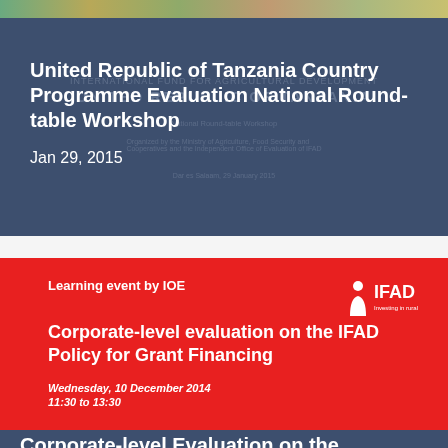[Figure (photo): Top image bar with landscape/nature photo strip]
United Republic of Tanzania Country Programme Evaluation National Round-table Workshop
Jan 29, 2015
[Figure (photo): Red background slide with IFAD logo and text: Learning event by IOE, Corporate-level evaluation on the IFAD Policy for Grant Financing, Wednesday, 10 December 2014, 11:30 to 13:30]
Learning event by IOE
Corporate-level evaluation on the IFAD Policy for Grant Financing
Wednesday, 10 December 2014
11:30 to 13:30
Corporate-level Evaluation on the